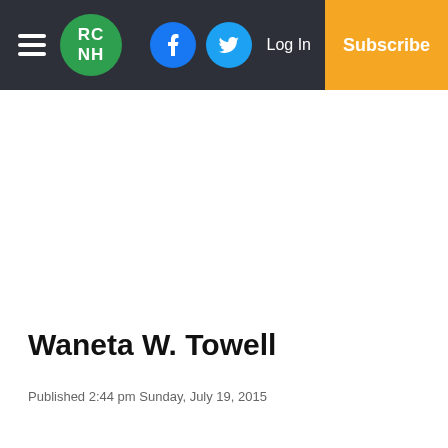RC NH | Log In | Subscribe
Waneta W. Towell
Published 2:44 pm Sunday, July 19, 2015